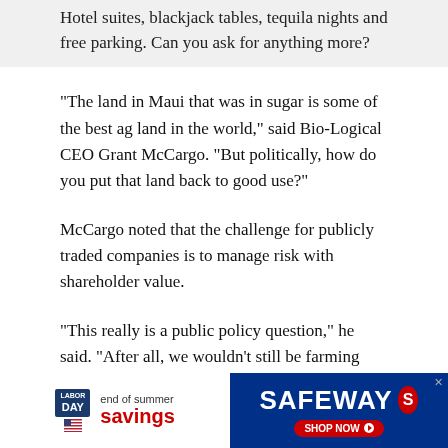Hotel suites, blackjack tables, tequila nights and free parking. Can you ask for anything more?
“The land in Maui that was in sugar is some of the best ag land in the world,” said Bio-Logical CEO Grant McCargo. “But politically, how do you put that land back to good use?”
McCargo noted that the challenge for publicly traded companies is to manage risk with shareholder value.
“This really is a public policy question,” he said. “After all, we wouldn’t still be farming corn in this country if it weren’t for subsidies from the government.”
[Figure (infographic): Safeway Labor Day end of summer savings advertisement banner with red, white and blue colors]